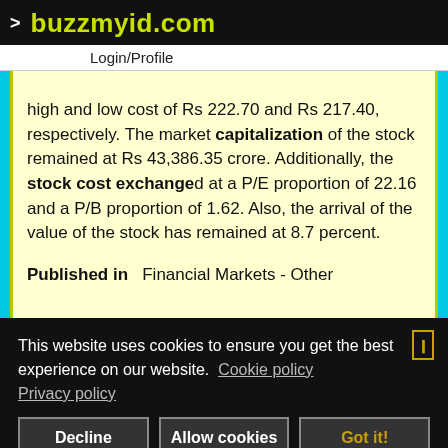> buzzmyid.com
Login/Profile
high and low cost of Rs 222.70 and Rs 217.40, respectively. The market capitalization of the stock remained at Rs 43,386.35 crore. Additionally, the stock cost exchanged at a P/E proportion of 22.16 and a P/B proportion of 1.62. Also, the arrival of the value of the stock has remained at 8.7 percent.
Published in  Financial Markets - Other
This website uses cookies to ensure you get the best experience on our website.  Cookie policy  Privacy policy
Decline  Allow cookies  Got it!